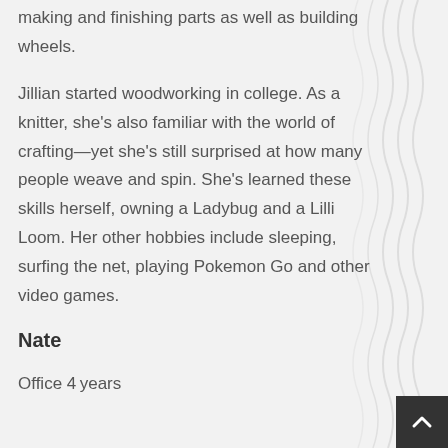making and finishing parts as well as building wheels.
Jillian started woodworking in college. As a knitter, she’s also familiar with the world of crafting—yet she’s still surprised at how many people weave and spin. She’s learned these skills herself, owning a Ladybug and a Lilli Loom. Her other hobbies include sleeping, surfing the net, playing Pokemon Go and other video games.
Nate
Office 4 years